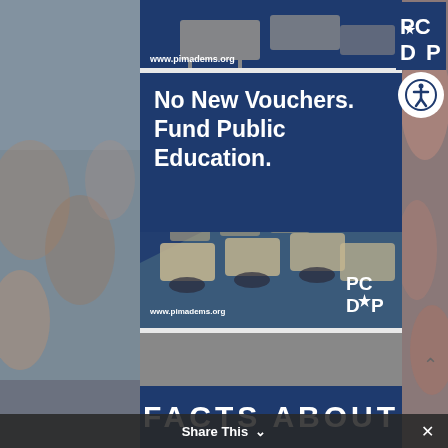[Figure (screenshot): Social media page screenshot from pimadems.org with blurred crowd background on sides]
[Figure (illustration): Partial top card showing classroom desks and PCDP logo, www.pimadems.org]
No New Vouchers. Fund Public Education.
[Figure (photo): Classroom with rows of student desks and chairs, dark blue overlay]
www.pimadems.org
[Figure (logo): PCDP logo with star on D]
FACTS ABOUT
Share This